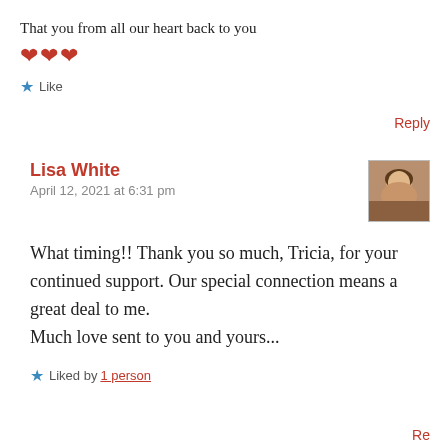That you from all our heart back to you
❤❤❤
Like
Reply
Lisa White
April 12, 2021 at 6:31 pm
[Figure (photo): Small avatar photo of a child with brown hair]
What timing!! Thank you so much, Tricia, for your continued support. Our special connection means a great deal to me.
Much love sent to you and yours...
Liked by 1 person